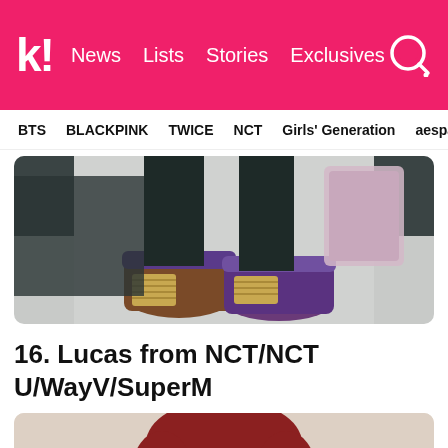k! News Lists Stories Exclusives
BTS BLACKPINK TWICE NCT Girls' Generation aespa
[Figure (photo): Close-up photo of stylish high-heeled shoes with purple straps and wedge soles against a gray background, showing the lower portion of someone's legs]
16. Lucas from NCT/NCT U/WayV/SuperM
[Figure (photo): Portrait photo of Lucas from NCT with red/auburn bowl-cut hair, looking at the camera against a light beige background]